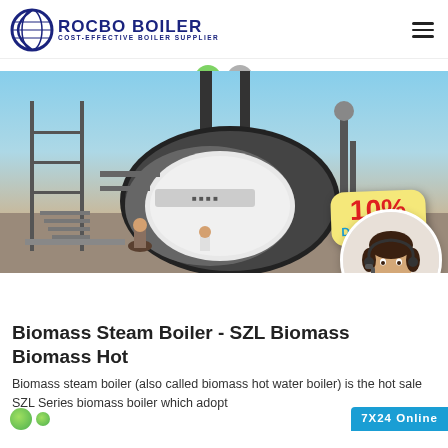ROCBO BOILER - COST-EFFECTIVE BOILER SUPPLIER
[Figure (photo): Industrial biomass boiler installation on construction site, with cylindrical boiler body, scaffold, chimneys, and workers. Overlay shows a 10% DISCOUNT badge and a customer service agent avatar.]
Biomass Steam Boiler - SZL Biomass Biomass Hot
Biomass steam boiler (also called biomass hot water boiler) is the hot sale SZL Series biomass boiler which adopt